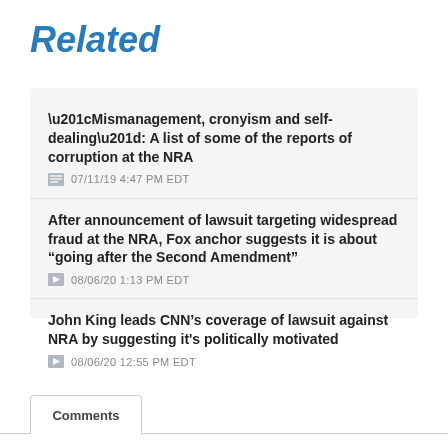Related
“Mismanagement, cronyism and self-dealing”: A list of some of the reports of corruption at the NRA
07/11/19 4:47 PM EDT
After announcement of lawsuit targeting widespread fraud at the NRA, Fox anchor suggests it is about “going after the Second Amendment”
08/06/20 1:13 PM EDT
John King leads CNN’s coverage of lawsuit against NRA by suggesting it's politically motivated
08/06/20 12:55 PM EDT
Comments